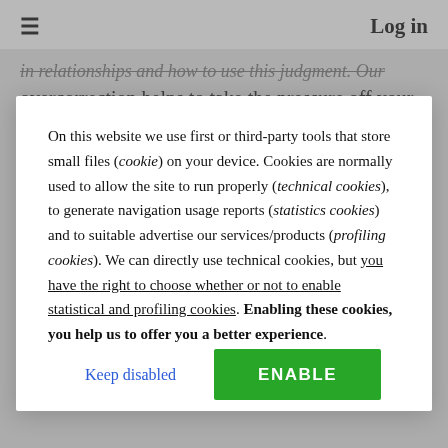≡   Log in
in relationships and how to use this judgment. Our overcorrection helps to take the pressure off your partner
On this website we use first or third-party tools that store small files (cookie) on your device. Cookies are normally used to allow the site to run properly (technical cookies), to generate navigation usage reports (statistics cookies) and to suitable advertise our services/products (profiling cookies). We can directly use technical cookies, but you have the right to choose whether or not to enable statistical and profiling cookies. Enabling these cookies, you help us to offer you a better experience.
Keep disabled
ENABLE